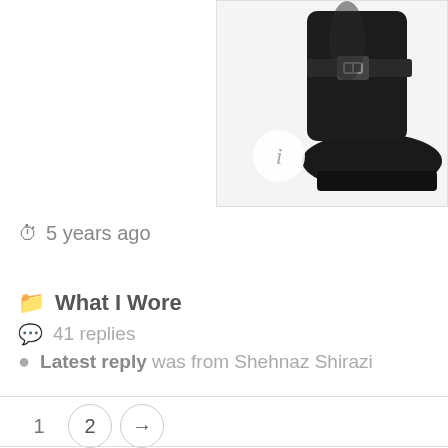[Figure (photo): Product photo of a black leather ankle boot with buckle strap and chunky sole, with an info badge overlay]
5 years ago
What I Wore
41 replies
Latest reply was from Shehnaz Shirazi